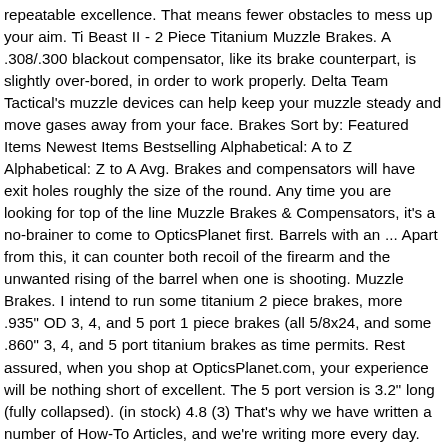repeatable excellence. That means fewer obstacles to mess up your aim. Ti Beast II - 2 Piece Titanium Muzzle Brakes. A .308/.300 blackout compensator, like its brake counterpart, is slightly over-bored, in order to work properly. Delta Team Tactical's muzzle devices can help keep your muzzle steady and move gases away from your face. Brakes Sort by: Featured Items Newest Items Bestselling Alphabetical: A to Z Alphabetical: Z to A Avg. Brakes and compensators will have exit holes roughly the size of the round. Any time you are looking for top of the line Muzzle Brakes & Compensators, it's a no-brainer to come to OpticsPlanet first. Barrels with an ... Apart from this, it can counter both recoil of the firearm and the unwanted rising of the barrel when one is shooting. Muzzle Brakes. I intend to run some titanium 2 piece brakes, more .935" OD 3, 4, and 5 port 1 piece brakes (all 5/8x24, and some .860" 3, 4, and 5 port titanium brakes as time permits. Rest assured, when you shop at OpticsPlanet.com, your experience will be nothing short of excellent. The 5 port version is 3.2" long (fully collapsed). (in stock) 4.8 (3) That's why we have written a number of How-To Articles, and we're writing more every day. What? We've worked hard over the years to give you an unbelievable selection of Muzzle Brakes & Compensators from a ton of Muzzle Brakes & Compensators brands and serving many different types of shooters, hunters, preppers, to top professionals. The use of a muzzle brake or a compensator plays more of a role when the suppressor is not mounted and the weapon is being fired